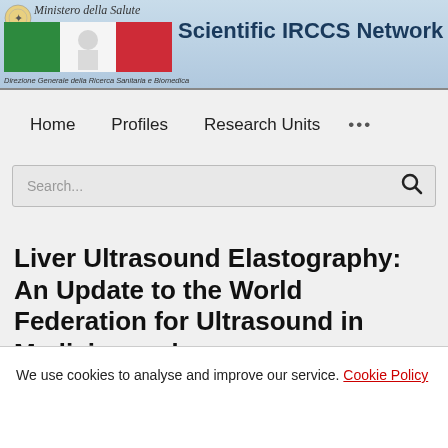Scientific IRCCS Network — Ministero della Salute — Direzione Generale della Ricerca Sanitaria e Biomedica
Home   Profiles   Research Units   ...
Search...
Liver Ultrasound Elastography: An Update to the World Federation for Ultrasound in Medicine and
We use cookies to analyse and improve our service. Cookie Policy